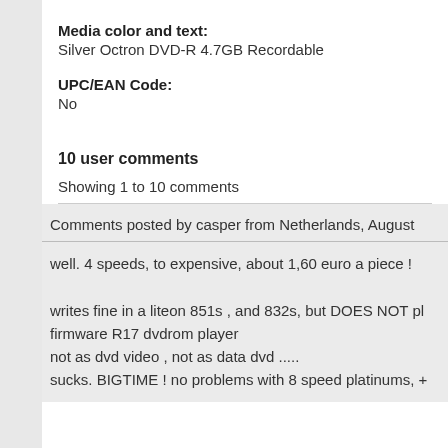Media color and text:
Silver Octron DVD-R 4.7GB Recordable
UPC/EAN Code:
No
10 user comments
Showing 1 to 10 comments
Comments posted by casper from Netherlands, August
well. 4 speeds, to expensive, about 1,60 euro a piece !

writes fine in a liteon 851s , and 832s, but DOES NOT pl firmware R17 dvdrom player
not as dvd video , not as data dvd .....
sucks. BIGTIME ! no problems with 8 speed platinums, +